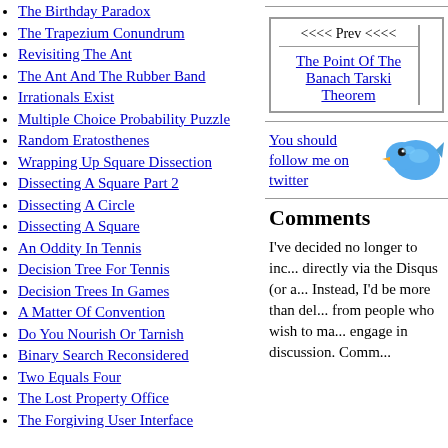The Birthday Paradox
The Trapezium Conundrum
Revisiting The Ant
The Ant And The Rubber Band
Irrationals Exist
Multiple Choice Probability Puzzle
Random Eratosthenes
Wrapping Up Square Dissection
Dissecting A Square Part 2
Dissecting A Circle
Dissecting A Square
An Oddity In Tennis
Decision Tree For Tennis
Decision Trees In Games
A Matter Of Convention
Do You Nourish Or Tarnish
Binary Search Reconsidered
Two Equals Four
The Lost Property Office
The Forgiving User Interface
| <<<< Prev <<<< |
| The Point Of The Banach Tarski Theorem |
[Figure (illustration): Twitter follow button with blue bird logo]
You should follow me on twitter
Comments
I've decided no longer to include comments directly via the Disqus (or any other) system. Instead, I'd be more than delighted to hear from people who wish to make comments or engage in discussion. Comm...